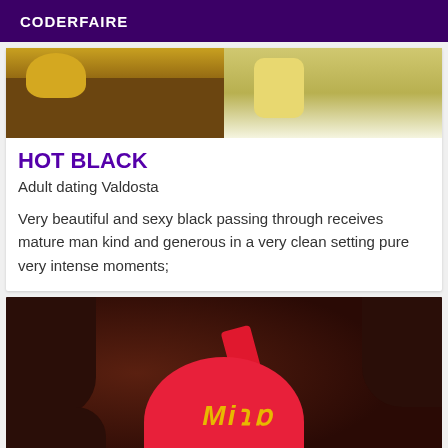CODERFAIRE
[Figure (photo): Two partial photos side by side at top of listing card]
HOT BLACK
Adult dating Valdosta
Very beautiful and sexy black passing through receives mature man kind and generous in a very clean setting pure very intense moments;
[Figure (photo): Photo of person in red swimwear with mirrored watermark text reading 'Mira']